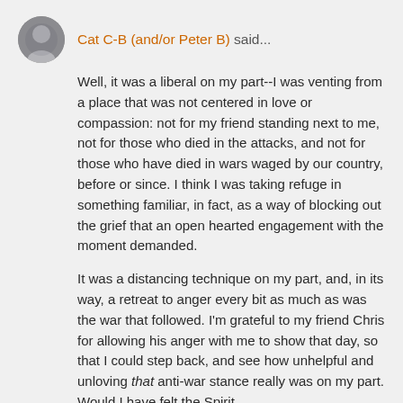Cat C-B (and/or Peter B) said...
Well, it was a liberal on my part--I was venting from a place that was not centered in love or compassion: not for my friend standing next to me, not for those who died in the attacks, and not for those who have died in wars waged by our country, before or since. I think I was taking refuge in something familiar, in fact, as a way of blocking out the grief that an open hearted engagement with the moment demanded.
It was a distancing technique on my part, and, in its way, a retreat to anger every bit as much as was the war that followed. I'm grateful to my friend Chris for allowing his anger with me to show that day, so that I could step back, and see how unhelpful and unloving that anti-war stance really was on my part. Would I have felt the Spirit